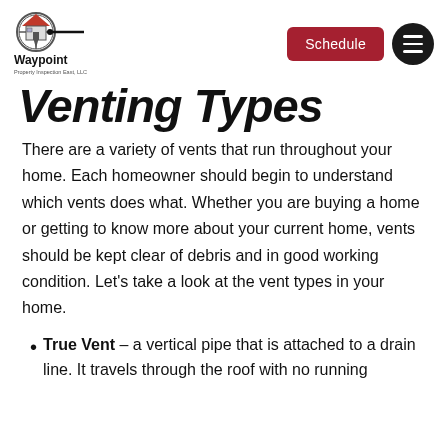Waypoint Property Inspection East, LLC — Schedule button and menu button
Venting Types
There are a variety of vents that run throughout your home. Each homeowner should begin to understand which vents does what. Whether you are buying a home or getting to know more about your current home, vents should be kept clear of debris and in good working condition. Let's take a look at the vent types in your home.
True Vent – a vertical pipe that is attached to a drain line. It travels through the roof with no running